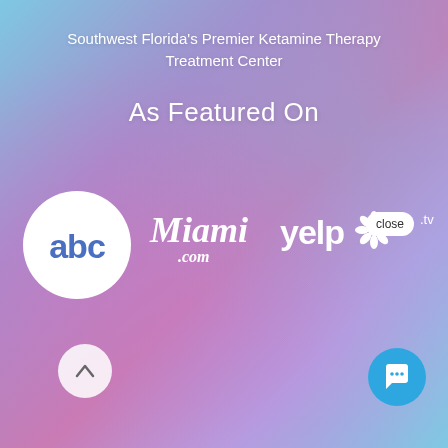Southwest Florida's Premier Ketamine Therapy Treatment Center
As Featured On
[Figure (logo): ABC network logo in white circle, Miami.com logo in white italic text, Yelp logo in white with burst icon, close button overlay, .tv text]
[Figure (infographic): Chat bubble popup with woman avatar photo and text: Hi there, have a question? Text us here.]
Hi there, have a question? Text us here.
[Figure (infographic): Up arrow navigation button (circle) and blue chat icon button at bottom of page]